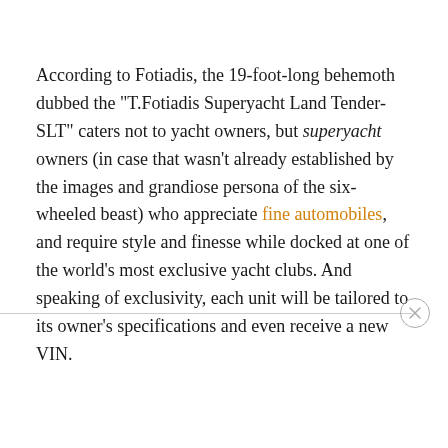According to Fotiadis, the 19-foot-long behemoth dubbed the "T.Fotiadis Superyacht Land Tender-SLT" caters not to yacht owners, but superyacht owners (in case that wasn't already established by the images and grandiose persona of the six-wheeled beast) who appreciate fine automobiles, and require style and finesse while docked at one of the world's most exclusive yacht clubs. And speaking of exclusivity, each unit will be tailored to its owner's specifications and even receive a new VIN.